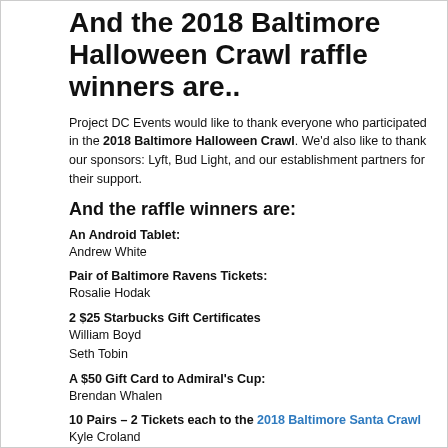And the 2018 Baltimore Halloween Crawl raffle winners are..
Project DC Events would like to thank everyone who participated in the 2018 Baltimore Halloween Crawl. We'd also like to thank our sponsors: Lyft, Bud Light, and our establishment partners for their support.
And the raffle winners are:
An Android Tablet:
Andrew White
Pair of Baltimore Ravens Tickets:
Rosalie Hodak
2 $25 Starbucks Gift Certificates
William Boyd
Seth Tobin
A $50 Gift Card to Admiral's Cup:
Brendan Whalen
10 Pairs – 2 Tickets each to the 2018 Baltimore Santa Crawl
Kyle Croland
Julie Wright